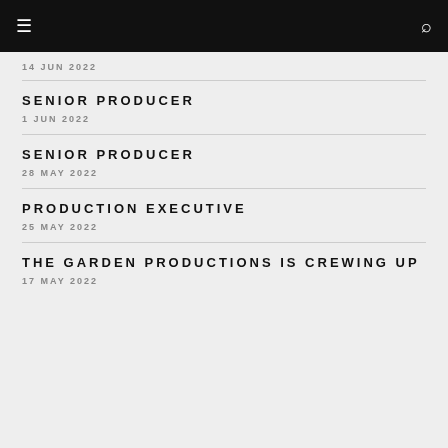≡  🔍
14 JUN 2022
SENIOR PRODUCER
1 JUN 2022
SENIOR PRODUCER
28 MAY 2022
PRODUCTION EXECUTIVE
25 MAY 2022
THE GARDEN PRODUCTIONS IS CREWING UP
17 MAY 2022